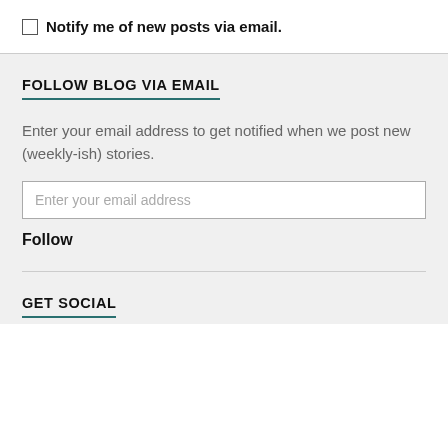Notify me of new posts via email.
FOLLOW BLOG VIA EMAIL
Enter your email address to get notified when we post new (weekly-ish) stories.
Enter your email address
Follow
GET SOCIAL